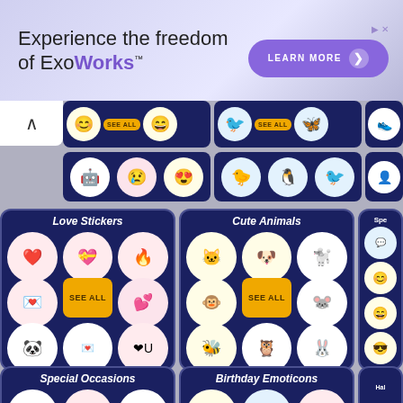[Figure (screenshot): Advertisement banner: 'Experience the freedom of ExoWorks™' with a purple 'LEARN MORE' button]
[Figure (screenshot): Sticker category browser showing Love Stickers, Cute Animals, Special Occasions, Birthday Emoticons sections with emoji/sticker icons and SEE ALL buttons]
Love Stickers
Cute Animals
Special Occasions
Birthday Emoticons